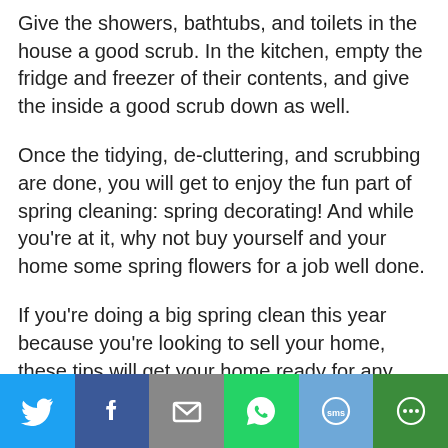Give the showers, bathtubs, and toilets in the house a good scrub. In the kitchen, empty the fridge and freezer of their contents, and give the inside a good scrub down as well.
Once the tidying, de-cluttering, and scrubbing are done, you will get to enjoy the fun part of spring cleaning: spring decorating! And while you're at it, why not buy yourself and your home some spring flowers for a job well done.
If you're doing a big spring clean this year because you're looking to sell your home, these tips will get your home ready for any buyer's eyes. Contact your mortgage professional today
[Figure (infographic): Social media share bar with six buttons: Twitter (blue), Facebook (dark blue), Email (grey), WhatsApp (green), SMS (light blue), More (dark green)]